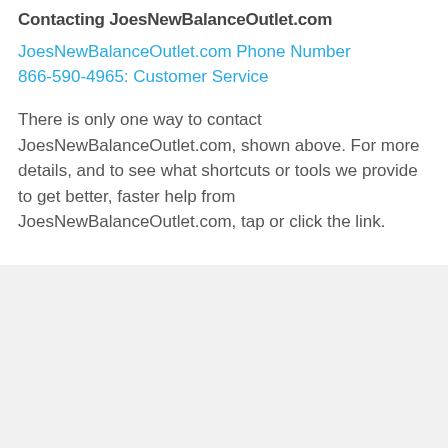Contacting JoesNewBalanceOutlet.com
JoesNewBalanceOutlet.com Phone Number 866-590-4965: Customer Service
There is only one way to contact JoesNewBalanceOutlet.com, shown above. For more details, and to see what shortcuts or tools we provide to get better, faster help from JoesNewBalanceOutlet.com, tap or click the link.